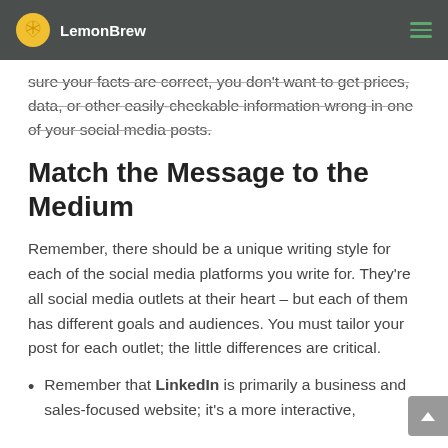LemonBrew
sure your facts are correct, you don't want to get prices, data, or other easily-checkable information wrong in one of your social media posts.
Match the Message to the Medium
Remember, there should be a unique writing style for each of the social media platforms you write for. They're all social media outlets at their heart – but each of them has different goals and audiences. You must tailor your post for each outlet; the little differences are critical.
Remember that LinkedIn is primarily a business and sales-focused website; it's a more interactive,